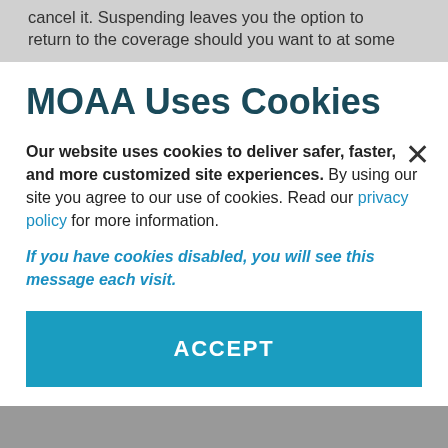cancel it. Suspending leaves you the option to return to the coverage should you want to at some
MOAA Uses Cookies
Our website uses cookies to deliver safer, faster, and more customized site experiences. By using our site you agree to our use of cookies. Read our privacy policy for more information.
If you have cookies disabled, you will see this message each visit.
ACCEPT